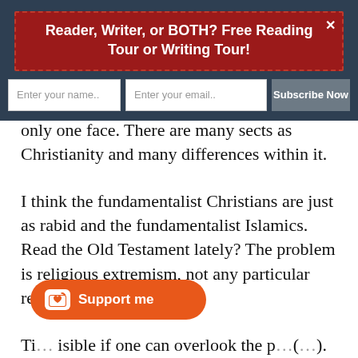Reader, Writer, or BOTH? Free Reading Tour or Writing Tour!
only one face. There are many sects as Christianity and many differences within it.
I think the fundamentalist Christians are just as rabid and the fundamentalist Islamics. Read the Old Testament lately? The problem is religious extremism, not any particular religion.
Ti... isible if one can overlook the p... (...)